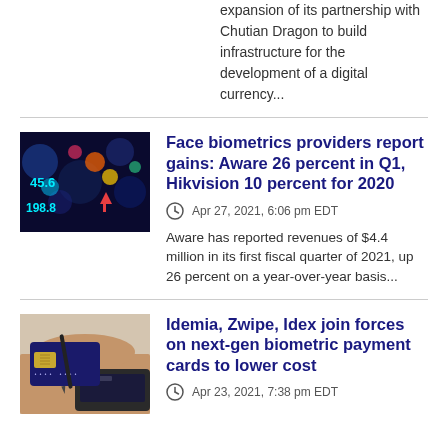expansion of its partnership with Chutian Dragon to build infrastructure for the development of a digital currency...
[Figure (photo): Stock market data display with colorful lights and numbers including 45.6 and 198.8]
Face biometrics providers report gains: Aware 26 percent in Q1, Hikvision 10 percent for 2020
Apr 27, 2021, 6:06 pm EDT
Aware has reported revenues of $4.4 million in its first fiscal quarter of 2021, up 26 percent on a year-over-year basis...
[Figure (photo): Hand holding a payment card near a card terminal]
Idemia, Zwipe, Idex join forces on next-gen biometric payment cards to lower cost
Apr 23, 2021, 7:38 pm EDT